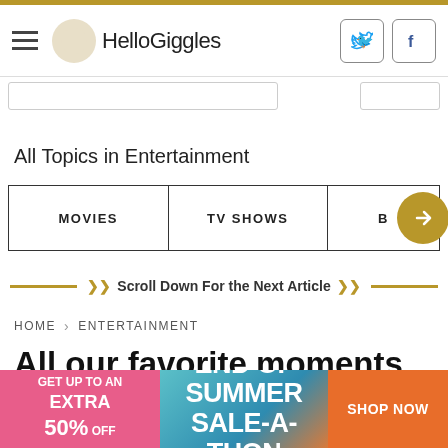HelloGiggles
All Topics in Entertainment
MOVIES
TV SHOWS
Scroll Down For the Next Article
HOME > ENTERTAINMENT
All our favorite moments from Hillary Clinton's "Broad City" cam…
[Figure (screenshot): Advertisement banner: GET UP TO AN EXTRA 50% OFF | END OF SUMMER SALE-A-THON | SHOP NOW]